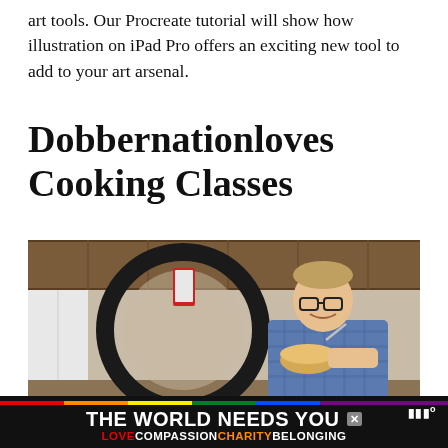art tools. Our Procreate tutorial will show how illustration on iPad Pro offers an exciting new tool to add to your art arsenal.
Dobbernationloves Cooking Classes
[Figure (photo): A man wearing glasses and a plaid shirt smiling and holding a bowl of food in a kitchen, photographed through a ring light on a tripod holding a smartphone.]
THE WORLD NEEDS YOU × LOVE COMPASSION CHARITY BELONGING